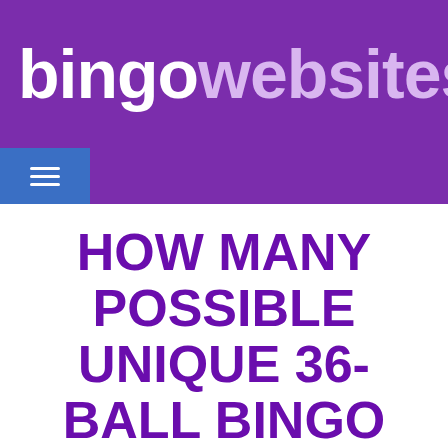bingo websites
HOW MANY POSSIBLE UNIQUE 36-BALL BINGO CARDS ARE THERE?
[Figure (photo): Partial view of a glowing bingo ball against a red and orange radial burst background]